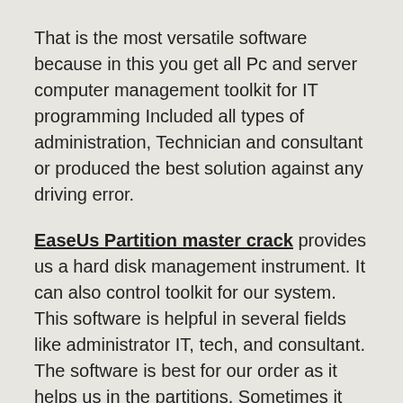That is the most versatile software because in this you get all Pc and server computer management toolkit for IT programming Included all types of administration, Technician and consultant or produced the best solution against any driving error.
EaseUs Partition master crack provides us a hard disk management instrument. It can also control toolkit for our system. This software is helpful in several fields like administrator IT, tech, and consultant. The software is best for our order as it helps us in the partitions. Sometimes it happens that we try to put the files in particular barriers in this case this program works best for us. There are multiple operations that we can perform with this software, which includes copying data, splitting, cloning, and managing partition of our disk. If we find the errors